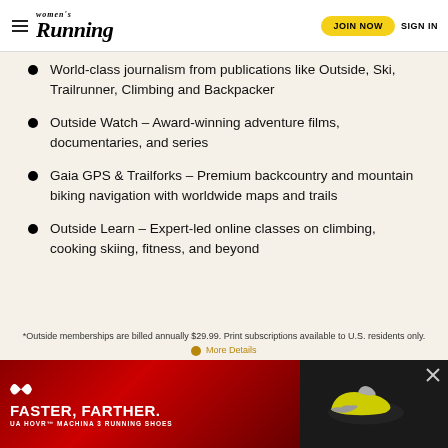Women's Running | JOIN NOW | SIGN IN
World-class journalism from publications like Outside, Ski, Trailrunner, Climbing and Backpacker
Outside Watch – Award-winning adventure films, documentaries, and series
Gaia GPS & Trailforks – Premium backcountry and mountain biking navigation with worldwide maps and trails
Outside Learn – Expert-led online classes on climbing, cooking skiing, fitness, and beyond
*Outside memberships are billed annually $29.99. Print subscriptions available to U.S. residents only.
More Details
[Figure (advertisement): Under Armour ad banner: FASTER, FARTHER. UA HOVR MACHINA 3 RUNNING SHOES with shoe image on dark red/black background]